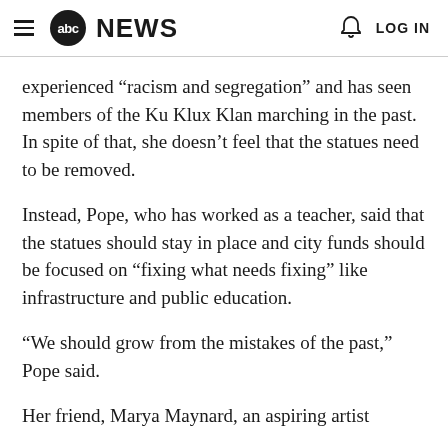abc NEWS  LOG IN
experienced “racism and segregation” and has seen members of the Ku Klux Klan marching in the past. In spite of that, she doesn’t feel that the statues need to be removed.
Instead, Pope, who has worked as a teacher, said that the statues should stay in place and city funds should be focused on “fixing what needs fixing” like infrastructure and public education.
“We should grow from the mistakes of the past,” Pope said.
Her friend, Marya Maynard, an aspiring artist